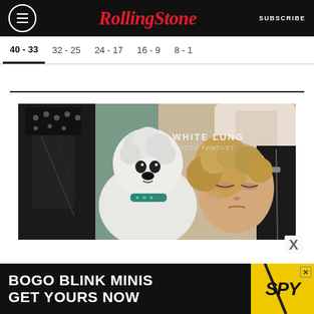Rolling Stone | SUBSCRIBE
40 - 33
32 - 25
24 - 17
16 - 9
8 - 1
[Figure (photo): Album cover for White Lung - Deep Fantasy showing a white poodle wearing a teal collar, with a blonde woman lying down in the background, and black leather jacket visible]
[Figure (infographic): Advertisement banner: BOGO BLINK MINIS / GET YOURS NOW with SPY logo on yellow background]